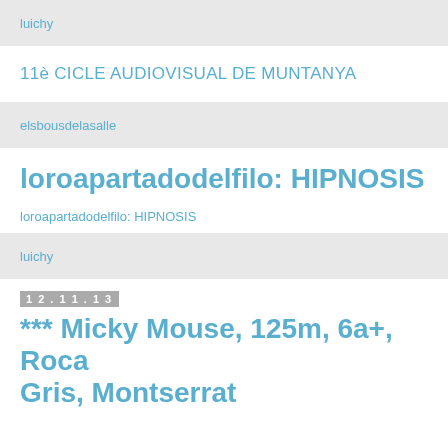luichy
11è CICLE AUDIOVISUAL DE MUNTANYA
elsbousdelasalle
loroapartadodelfilo: HIPNOSIS
loroapartadodelfilo: HIPNOSIS
luichy
12.11.13
*** Micky Mouse, 125m, 6a+, Roca Gris, Montserrat